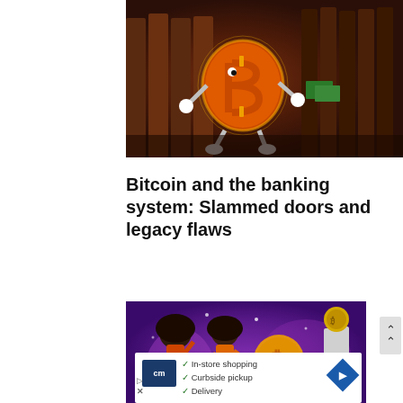[Figure (illustration): Illustrated Bitcoin character (orange B symbol with arms and legs, wearing white gloves and roller skates) walking away from a brown wooden fence/door background. Cartoon style with dramatic lighting.]
Bitcoin and the banking system: Slammed doors and legacy flaws
[Figure (illustration): Purple/violet illustrated scene showing cartoon characters celebrating with a large Bitcoin symbol, and a skeleton hand holding a gold coin. Festive cryptocurrency themed illustration.]
[Figure (infographic): Advertisement overlay with CoinMarketCap (cm) logo and checklist: In-store shopping, Curbside pickup, Delivery. Blue navigation arrow icon on the right.]